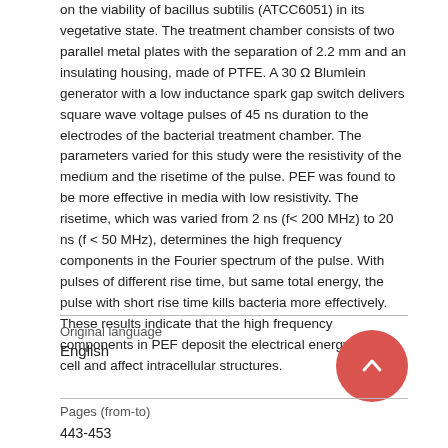on the viability of bacillus subtilis (ATCC6051) in its vegetative state. The treatment chamber consists of two parallel metal plates with the separation of 2.2 mm and an insulating housing, made of PTFE. A 30 Ω Blumlein generator with a low inductance spark gap switch delivers square wave voltage pulses of 45 ns duration to the electrodes of the bacterial treatment chamber. The parameters varied for this study were the resistivity of the medium and the risetime of the pulse. PEF was found to be more effective in media with low resistivity. The risetime, which was varied from 2 ns (f< 200 MHz) to 20 ns (f < 50 MHz), determines the high frequency components in the Fourier spectrum of the pulse. With pulses of different rise time, but same total energy, the pulse with short rise time kills bacteria more effectively. These results indicate that the high frequency components in PEF deposit the electrical energy in the cell and affect intracellular structures.
Original language
English
Pages (from-to)
443-453